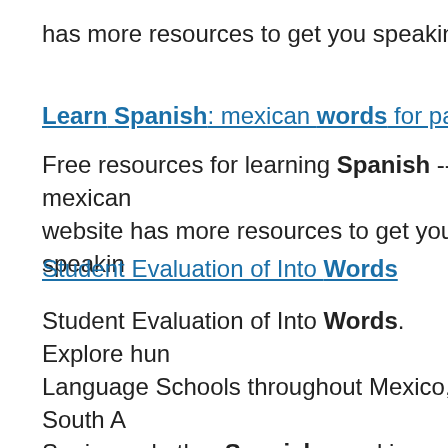has more resources to get you speaking Spani
Learn Spanish: mexican words for party
Free resources for learning Spanish -- mexican website has more resources to get you speakin
Student Evaluation of Into Words
Student Evaluation of Into Words. Explore hun Language Schools throughout Mexico, South A Spain, and other Spanish speaking countries.
Spanish Indefinite Words & Indefinite Clause
Quizzes on Spanish Indefinite Words & Indefir
Learn Spanish: same words in english